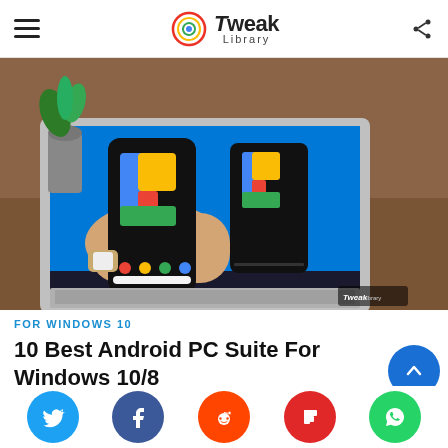Tweak Library
[Figure (photo): Person holding a Google Pixel 4 Android smartphone in front of a laptop showing a mirrored phone screen on Windows desktop, with a plant in the background on a wooden desk. Tweak Library watermark in bottom right corner.]
FOR WINDOWS 10
10 Best Android PC Suite For Windows 10/8 In 2022